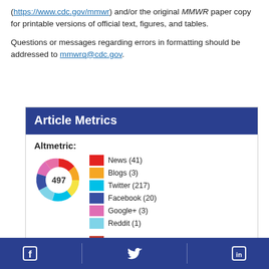(https://www.cdc.gov/mmwr) and/or the original MMWR paper copy for printable versions of official text, figures, and tables.
Questions or messages regarding errors in formatting should be addressed to mmwrq@cdc.gov.
Article Metrics
[Figure (infographic): Altmetric donut badge showing score of 497, with legend: News (41), Blogs (3), Twitter (217), Facebook (20), Google+ (3), Reddit (1), Mendeley (82)]
Facebook | Twitter | LinkedIn social media icons